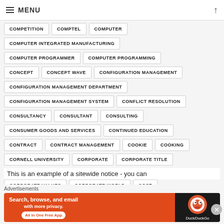MENU
COMPETITION
COMPTEL
COMPUTER
COMPUTER INTEGRATED MANUFACTURING
COMPUTER PROGRAMMER
COMPUTER PROGRAMMING
CONCEPT
CONCEPT WAVE
CONFIGURATION MANAGEMENT
CONFIGURATION MANAGEMENT DEPARTMENT
CONFIGURATION MANAGEMENT SYSTEM
CONFLICT RESOLUTION
CONSULTANCY
CONSULTANT
CONSULTING
CONSUMER GOODS AND SERVICES
CONTINUED EDUCATION
CONTRACT
CONTRACT MANAGEMENT
COOKIE
COOKING
CORNELL UNIVERSITY
CORPORATE
CORPORATE TITLE
CORPORATE VALUES
CORPORATE WORLD
COST
This is an example of a sitewide notice - you can
[Figure (infographic): DuckDuckGo advertisement banner with orange background, text 'Search, browse, and email with more privacy. All in One Free App' and DuckDuckGo logo on dark background]
Advertisements